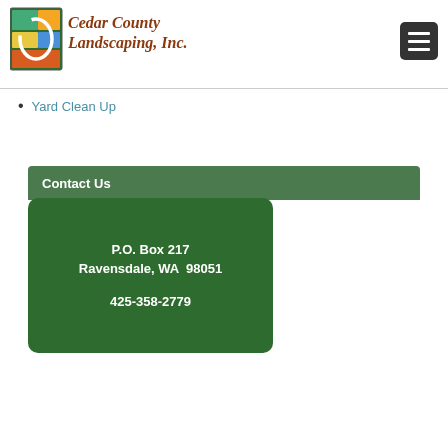[Figure (logo): Cedar County Landscaping, Inc. logo with decorative C initial and colorful text]
[Figure (other): Hamburger menu button (dark rounded square with three white horizontal lines)]
Yard Clean Up
Contact Us
P.O. Box 217
Ravensdale, WA  98051

425-358-2779